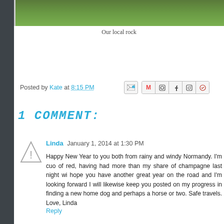[Figure (photo): Partial view of a grass/lawn photo strip at the top of the page]
Our local rock
Posted by Kate at 8:15 PM
1 COMMENT:
Linda  January 1, 2014 at 1:30 PM
Happy New Year to you both from rainy and windy Normandy. I'm cuo of red, having had more than my share of champagne last night wi hope you have another great year on the road and I'm looking forward I will likewise keep you posted on my progress in finding a new home dog and perhaps a horse or two. Safe travels. Love, Linda
Reply